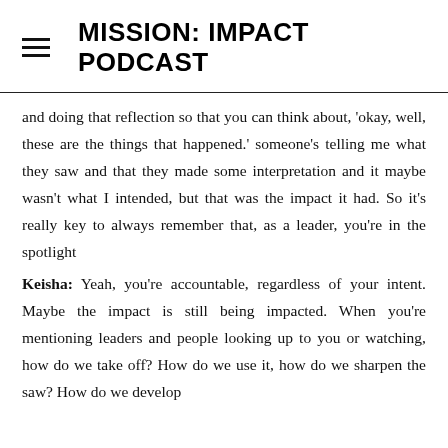MISSION: IMPACT PODCAST
and doing that reflection so that you can think about, 'okay, well, these are the things that happened.' someone's telling me what they saw and that they made some interpretation and it maybe wasn't what I intended, but that was the impact it had. So it's really key to always remember that, as a leader, you're in the spotlight
Keisha: Yeah, you're accountable, regardless of your intent. Maybe the impact is still being impacted. When you're mentioning leaders and people looking up to you or watching, how do we take off? How do we use it, how do we sharpen the saw? How do we develop